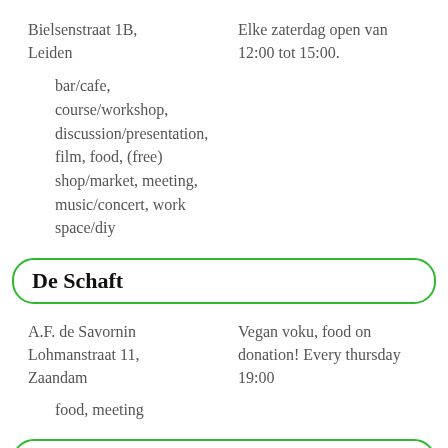Bielsenstraat 1B, Leiden
Elke zaterdag open van 12:00 tot 15:00.
bar/cafe, course/workshop, discussion/presentation, film, food, (free) shop/market, meeting, music/concert, work space/diy
De Schaft
A.F. de Savornin Lohmanstraat 11, Zaandam
Vegan voku, food on donation! Every thursday 19:00
food, meeting
De Weggeef Bank